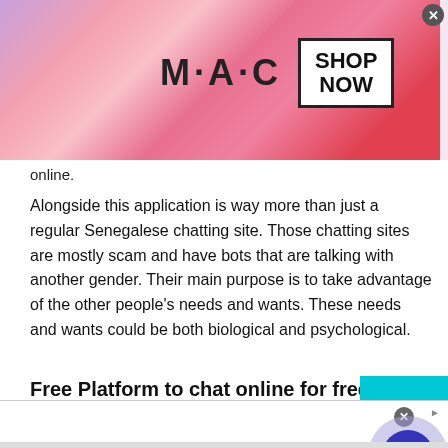[Figure (illustration): MAC Cosmetics advertisement banner with lipsticks in purple, pink, and red shades. Shows MAC logo text and a 'SHOP NOW' box with border. Close button in top right.]
online.
Alongside this application is way more than just a regular Senegalese chatting site. Those chatting sites are mostly scam and have bots that are talking with another gender. Their main purpose is to take advantage of the other people's needs and wants. These needs and wants could be both biological and psychological.
Free Platform to chat online for free
[Figure (other): Teal/cyan scroll-to-top button with upward chevron arrow]
[Figure (other): Official NFL Gear advertisement. Red box with '50% OFF' text. Title: Official NFL Gear. Description: Get Your Favorite Team's Gear Here. URL: www.nflshop.com. Blue circle arrow button on right.]